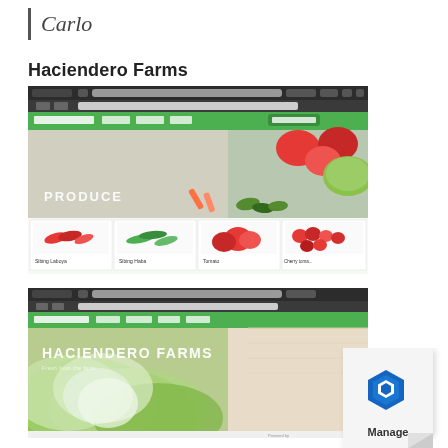Carlo
Haciendero Farms
[Figure (screenshot): Screenshot of Haciendero Farms website showing produce page with green navigation bar, hero image of vegetables (tomatoes, cabbage, peppers), and product grid showing Sibling Laboya, Sibling Haba, Tomato, and cherry tomatoes]
[Figure (screenshot): Screenshot of Haciendero Farms website homepage showing HACIENDERO FARMS title on hero image with large green lettuce leaves on a wooden background]
[Figure (logo): Manage logo - hexagonal blue icon with 'Manage' text below on a curled page corner]